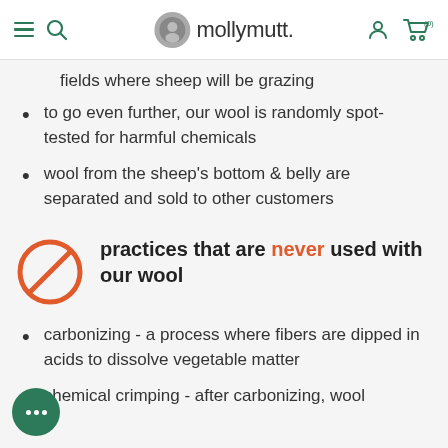mollymutt. (0)
fields where sheep will be grazing
to go even further, our wool is randomly spot-tested for harmful chemicals
wool from the sheep's bottom & belly are separated and sold to other customers
practices that are never used with our wool
carbonizing - a process where fibers are dipped in acids to dissolve vegetable matter
chemical crimping - after carbonizing, wool